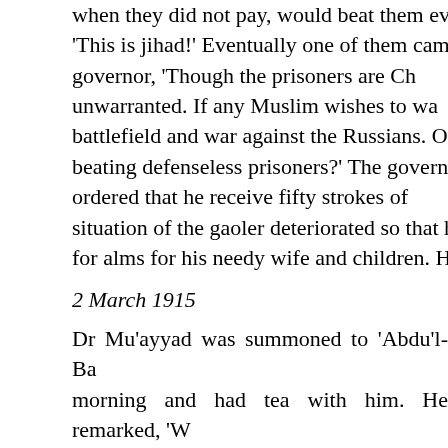when they did not pay, would beat them every day, crying 'This is jihad!' Eventually one of them came to the governor, 'Though the prisoners are Ch... unwarranted. If any Muslim wishes to wa... battlefield and war against the Russians. Ot... beating defenseless prisoners?' The govern... ordered that he receive fifty strokes of ... situation of the gaoler deteriorated so that h... for alms for his needy wife and children. He...
2 March 1915
Dr Mu’ayyad was summoned to ‘Abdu’l-Ba... morning and had tea with him. He remarked, ‘W... give my greetings to that Egyptian youth and ... received. However, for his protection, I will not ... papers closely. Through divine bounties, without ... spiritual communion will be everlasting.’ He add... in ... divine? Dr Mu’ayyad was asked (D...